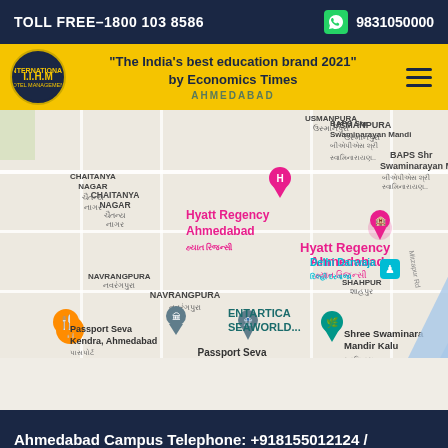TOLL FREE-1800 103 8586    9831050000
"The India's best education brand 2021" by Economics Times
AHMEDABAD
[Figure (map): Google Maps screenshot showing area around Hyatt Regency Ahmedabad, Sabarmati River, with landmarks: USMANPURA, CHAITANYA NAGAR, NAVRANGPURA, BAPS Shree Swaminarayan Mandi, Delhi Darwaja, SHAHPUR, ENTARTICA SEAWORLD, Passport Seva Kendra Ahmedabad, Shree Swaminara Mandir Kalu]
Ahmedabad Campus Telephone: +918155012124 /